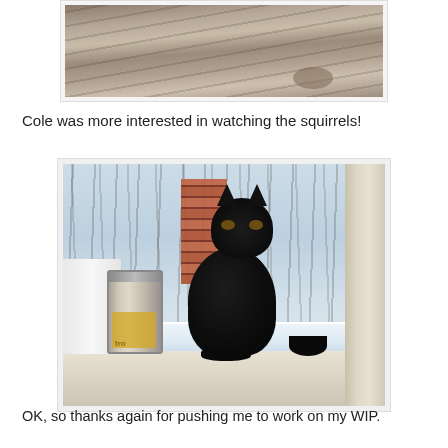[Figure (photo): Partial photo of a tabby/striped cat lying on a patterned surface, cropped at top]
Cole was more interested in watching the squirrels!
[Figure (photo): A black cat sitting on a window sill next to a glass jar, looking out a snowy winter window with bare trees and a brick chimney visible outside]
OK, so thanks again for pushing me to work on my WIP.